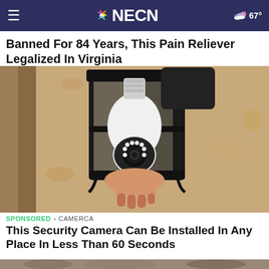NECN  67°
Banned For 84 Years, This Pain Reliever Legalized In Virginia
Banned For 84 Years, This Pain Reliever Legalized In Virginia
[Figure (photo): Close-up photo of a security camera shaped like a light bulb being installed into a black outdoor lantern fixture mounted on a textured stucco wall. A hand is holding the camera-bulb from below.]
SPONSORED · CAMERCA
This Security Camera Can Be Installed In Any Place In Less Than 60 Seconds
[Figure (photo): Bottom strip showing the beginning of another image below the headline.]